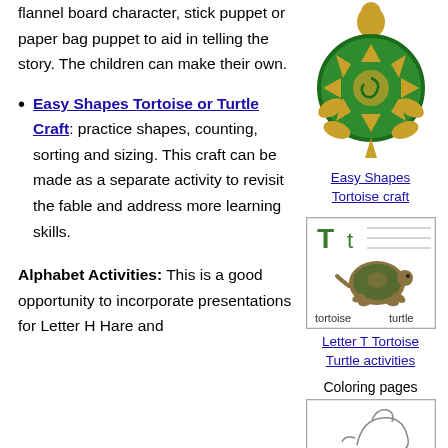flannel board character, stick puppet or paper bag puppet to aid in telling the story. The children can make their own.
[Figure (illustration): Colorful cartoon turtle with green circular shell decorated with triangles and a spiral, golden-yellow head, legs, and tail]
Easy Shapes Tortoise craft
Easy Shapes Tortoise or Turtle Craft: practice shapes, counting, sorting and sizing. This craft can be made as a separate activity to revisit the fable and address more learning skills.
[Figure (illustration): Letter T activity page showing a walking tortoise/turtle illustration with 'T t' at top and words 'tortoise' and 'turtle' at bottom]
Letter T Tortoise Turtle activities
Alphabet Activities: This is a good opportunity to incorporate presentations for Letter H Hare and
Coloring pages
[Figure (illustration): Partial coloring page showing a turtle outline]